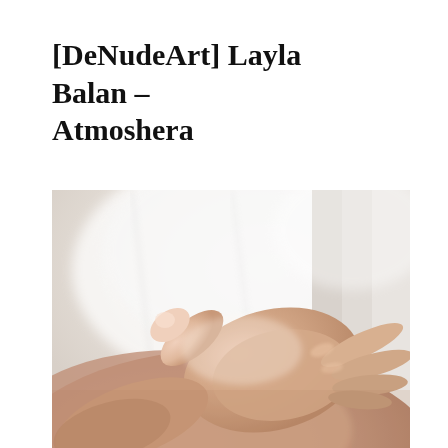[DeNudeArt] Layla Balan – Atmoshera
[Figure (photo): Close-up photograph of a human hand resting on a knee, shot in soft natural light with a blurred white background. The image has a warm, minimalist tone with shallow depth of field.]